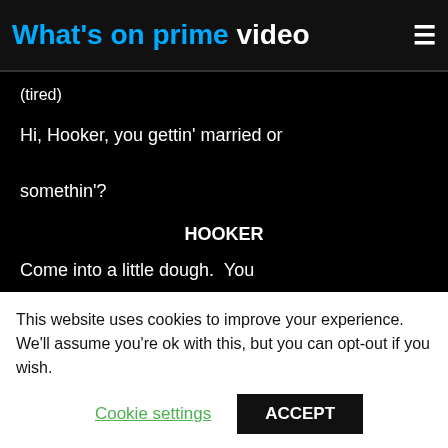What's on prime video
(tired)
Hi, Hooker, you gettin' married or somethin'?
HOOKER
Come into a little dough.  You wanna get outa here tonight?
This website uses cookies to improve your experience. We'll assume you're ok with this, but you can opt-out if you wish.
Cookie settings  ACCEPT